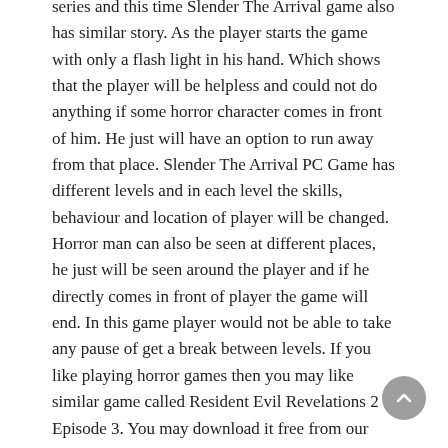series and this time Slender The Arrival game also has similar story. As the player starts the game with only a flash light in his hand. Which shows that the player will be helpless and could not do anything if some horror character comes in front of him. He just will have an option to run away from that place. Slender The Arrival PC Game has different levels and in each level the skills, behaviour and location of player will be changed. Horror man can also be seen at different places, he just will be seen around the player and if he directly comes in front of player the game will end. In this game player would not be able to take any pause of get a break between levels. If you like playing horror games then you may like similar game called Resident Evil Revelations 2 Episode 3. You may download it free from our website.
Graphics and visual effects of Slender The Arrival PC Game are unique. The sound effects are also very scary which may frightens the player. Each player and character has his own sound and expressions. Which shows the great use of graphics and Artificial intelligence techniques in the game. The capabilities and skills increases as the player gets